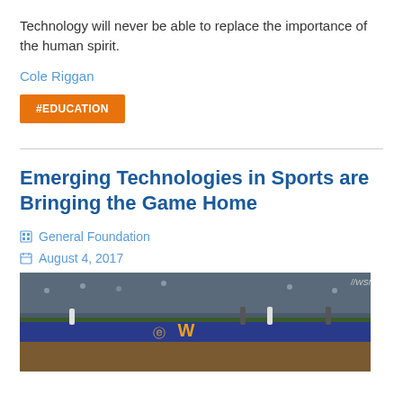Technology will never be able to replace the importance of the human spirit.
Cole Riggan
#EDUCATION
Emerging Technologies in Sports are Bringing the Game Home
General Foundation
August 4, 2017
[Figure (photo): Baseball game photo showing players on field with stadium wall bearing a W logo, crowd in background, WSN watermark in top right corner]